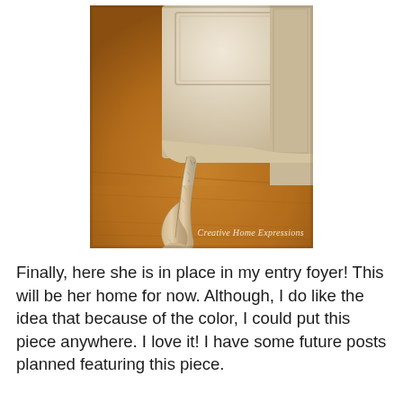[Figure (photo): Close-up photograph of an ornate carved furniture leg with distressed white/cream painted finish on a warm wood floor background. Watermark reads 'Creative Home Expressions'.]
Finally, here she is in place in my entry foyer!  This will be her home for now.  Although, I do like the idea that because of the color, I could put this piece anywhere.  I love it!  I have some future posts planned featuring this piece.